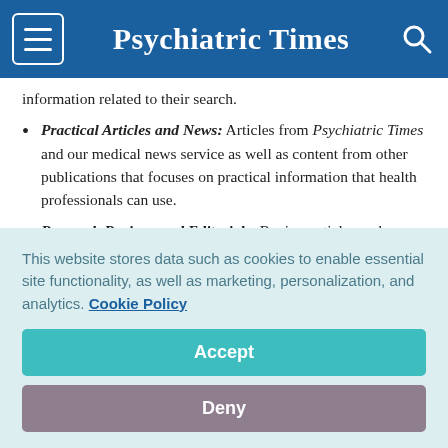Psychiatric Times
information related to their search.
Practical Articles and News: Articles from Psychiatric Times and our medical news service as well as content from other publications that focuses on practical information that health professionals can use.
Research Reviews and Editorials: Review articles and editorials that key opinion leaders
This website stores data such as cookies to enable essential site functionality, as well as marketing, personalization, and analytics. Cookie Policy
Accept
Deny